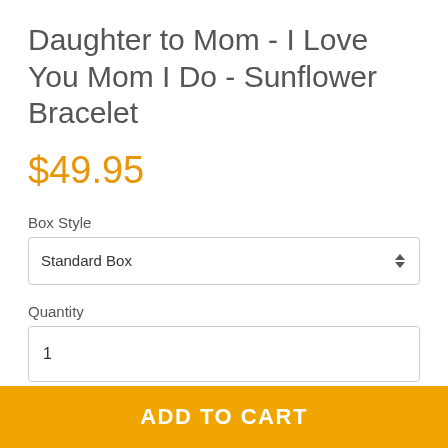Daughter to Mom - I Love You Mom I Do - Sunflower Bracelet
$49.95
Box Style
Standard Box
Quantity
1
ADD TO CART